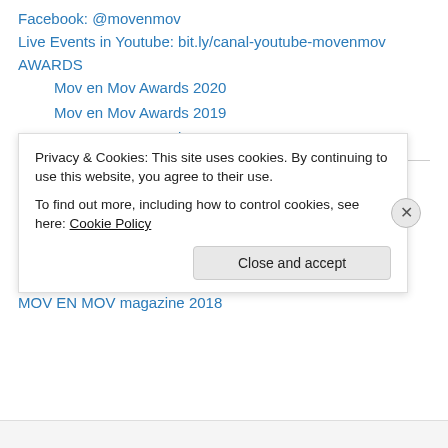Facebook: @movenmov
Live Events in Youtube: bit.ly/canal-youtube-movenmov
AWARDS
Mov en Mov Awards 2020
Mov en Mov Awards 2019
Mov en Mov Awards 2018
PROGRAMS AND MAGAZINES
Interview Identity-Corporality-Media
MOV EN MOV magazine 2020
MOV EN MOV magazine 2019
MOV EN MOV magazine 2018
Privacy & Cookies: This site uses cookies. By continuing to use this website, you agree to their use. To find out more, including how to control cookies, see here: Cookie Policy
Close and accept